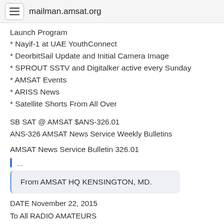mailman.amsat.org
Launch Program
* Nayif-1 at UAE YouthConnect
* DeorbitSail Update and Initial Camera Image
* SPROUT SSTV and Digitalker active every Sunday
* AMSAT Events
* ARISS News
* Satellite Shorts From All Over
SB SAT @ AMSAT $ANS-326.01
ANS-326 AMSAT News Service Weekly Bulletins
AMSAT News Service Bulletin 326.01
...
From AMSAT HQ KENSINGTON, MD.
DATE November 22, 2015
To All RADIO AMATEURS
BID: $ANS-326.01